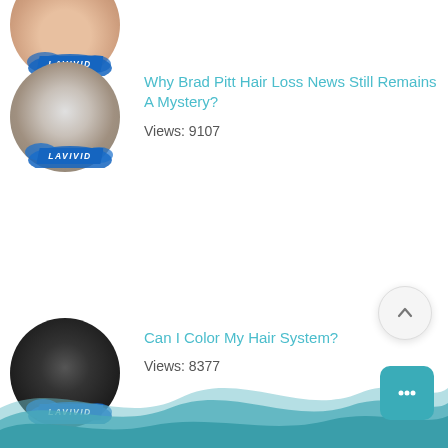[Figure (photo): Circular thumbnail photo of a man (partially cropped at top) with LaVivid badge/logo, item 1]
[Figure (photo): Circular thumbnail photo of man with grey/blonde hair from behind, LaVivid badge, item 2 - Brad Pitt article]
Why Brad Pitt Hair Loss News Still Remains A Mystery?
Views: 9107
[Figure (photo): Circular thumbnail photo of smiling man in black turtleneck, LaVivid badge, item 3 - Can I Color My Hair System]
Can I Color My Hair System?
Views: 8377
Home  /   Men's Hair Blog  /  LaVivid News  /  Did Robert Conrad wear a hairpiece?